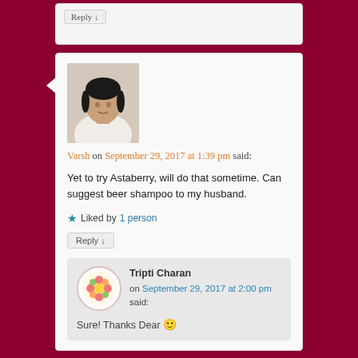Reply ↓
Varsh on September 29, 2017 at 1:39 pm said:
Yet to try Astaberry, will do that sometime. Can suggest beer shampoo to my husband.
★ Liked by 1 person
Reply ↓
Tripti Charan on September 29, 2017 at 2:00 pm said:
Sure! Thanks Dear 🙂